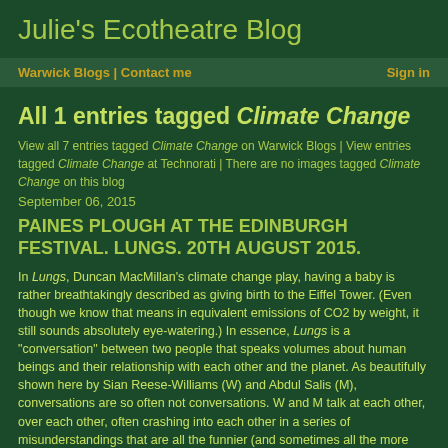Julie's Ecotheatre Blog
Warwick Blogs | Contact me | Sign in
All 1 entries tagged Climate Change
View all 7 entries tagged Climate Change on Warwick Blogs | View entries tagged Climate Change at Technorati | There are no images tagged Climate Change on this blog
September 06, 2015
PAINES PLOUGH AT THE EDINBURGH FESTIVAL. LUNGS. 20TH AUGUST 2015.
In Lungs, Duncan MacMillan's climate change play, having a baby is rather breathtakingly described as giving birth to the Eiffel Tower. (Even though we know that means in equivalent emissions of CO2 by weight, it still sounds absolutely eye-watering.) In essence, Lungs is a "conversation" between two people that speaks volumes about human beings and their relationship with each other and the planet. As beautifully shown here by Sian Reese-Williams (W) and Abdul Salis (M), conversations are so often not conversations. W and M talk at each other, over each other, often crashing into each other in a series of misunderstandings that are all the funnier (and sometimes all the more tragic) because they are so true to life.